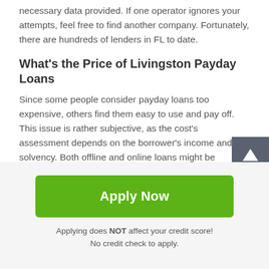necessary data provided. If one operator ignores your attempts, feel free to find another company. Fortunately, there are hundreds of lenders in FL to date.
What's the Price of Livingston Payday Loans
Since some people consider payday loans too expensive, others find them easy to use and pay off. This issue is rather subjective, as the cost's assessment depends on the borrower's income and solvency. Both offline and online loans might be cheaper or more expensive, but the divide between them is not essential. The state law regulates some maximums to prevent lenders from unreasonable rates and fees. The main aspects of a price are:
Apply Now
Applying does NOT affect your credit score!
No credit check to apply.